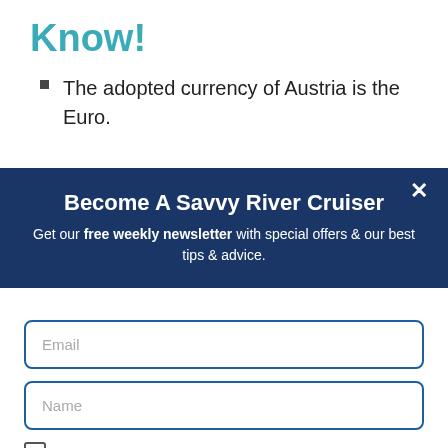Know!
The adopted currency of Austria is the Euro.
Become A Savvy River Cruiser
Get our free weekly newsletter with special offers & our best tips & advice.
Email
Name
By subscribing you agree to our Terms & Privacy policy.
SUBSCRIBE